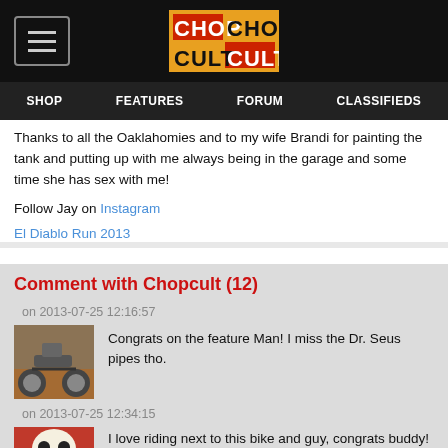SHOP   FEATURES   FORUM   CLASSIFIEDS
Thanks to all the Oaklahomies and to my wife Brandi for painting the tank and putting up with me always being in the garage and some time she has sex with me!
Follow Jay on Instagram
El Diablo Run 2013
Comment with Chopcult (12)
on 2013-07-25 12:16:57
Congrats on the feature Man! I miss the Dr. Seus pipes tho.
on 2013-07-25 12:34:15
I love riding next to this bike and guy, congrats buddy! OFFO